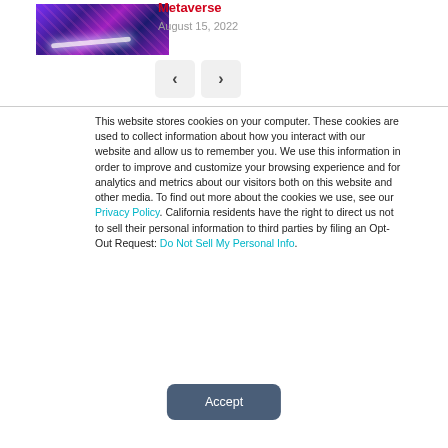[Figure (photo): Thumbnail image showing a purple/pink neon-lit scene, likely related to a metaverse article]
Metaverse
August 15, 2022
< >
This website stores cookies on your computer. These cookies are used to collect information about how you interact with our website and allow us to remember you. We use this information in order to improve and customize your browsing experience and for analytics and metrics about our visitors both on this website and other media. To find out more about the cookies we use, see our Privacy Policy. California residents have the right to direct us not to sell their personal information to third parties by filing an Opt-Out Request: Do Not Sell My Personal Info.
Accept